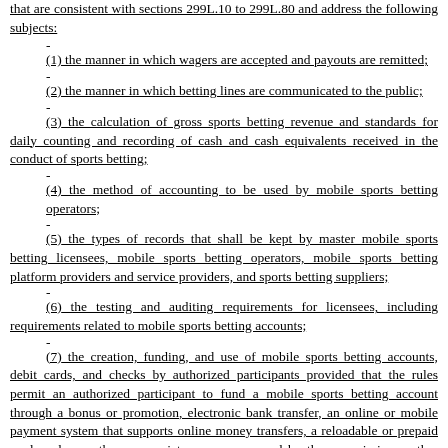that are consistent with sections 299L.10 to 299L.80 and address the following subjects:
(1) the manner in which wagers are accepted and payouts are remitted;
(2) the manner in which betting lines are communicated to the public;
(3) the calculation of gross sports betting revenue and standards for daily counting and recording of cash and cash equivalents received in the conduct of sports betting;
(4) the method of accounting to be used by mobile sports betting operators;
(5) the types of records that shall be kept by master mobile sports betting licensees, mobile sports betting operators, mobile sports betting platform providers and service providers, and sports betting suppliers;
(6) the testing and auditing requirements for licensees, including requirements related to mobile sports betting accounts;
(7) the creation, funding, and use of mobile sports betting accounts, debit cards, and checks by authorized participants provided that the rules permit an authorized participant to fund a mobile sports betting account through a bonus or promotion, electronic bank transfer, an online or mobile payment system that supports online money transfers, a reloadable or prepaid card, and any other appropriate means approved by the commissioner other than the use of credit cards;
(8) the appropriate standards and practices to prevent and address compulsive and problem gambling;
(9) the appropriate standards and practices to prevent and address sports betting by individuals who are not authorized participants or who are otherwise